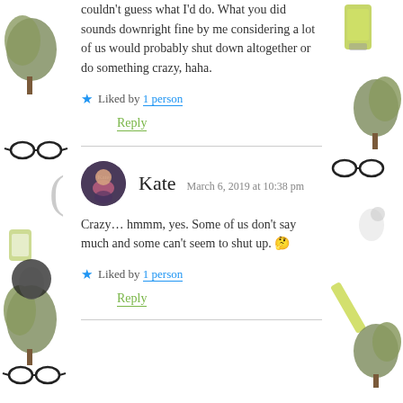couldn't guess what I'd do. What you did sounds downright fine by me considering a lot of us would probably shut down altogether or do something crazy, haha.
Liked by 1 person
Reply
Kate  March 6, 2019 at 10:38 pm
Crazy… hmmm, yes. Some of us don't say much and some can't seem to shut up. 🤔
Liked by 1 person
Reply